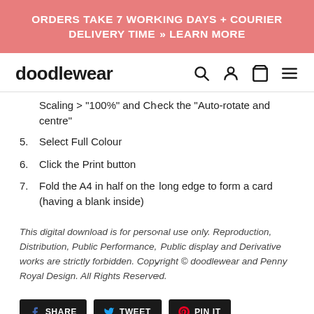ORDERS TAKE 7 WORKING DAYS + COURIER DELIVERY TIME » LEARN MORE
doodlewear
Scaling > "100%" and Check the "Auto-rotate and centre"
5. Select Full Colour
6. Click the Print button
7. Fold the A4 in half on the long edge to form a card (having a blank inside)
This digital download is for personal use only. Reproduction, Distribution, Public Performance, Public display and Derivative works are strictly forbidden. Copyright © doodlewear and Penny Royal Design. All Rights Reserved.
SHARE   TWEET   PIN IT